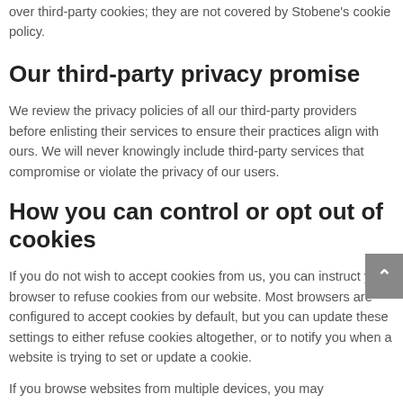over third-party cookies; they are not covered by Stobene's cookie policy.
Our third-party privacy promise
We review the privacy policies of all our third-party providers before enlisting their services to ensure their practices align with ours. We will never knowingly include third-party services that compromise or violate the privacy of our users.
How you can control or opt out of cookies
If you do not wish to accept cookies from us, you can instruct your browser to refuse cookies from our website. Most browsers are configured to accept cookies by default, but you can update these settings to either refuse cookies altogether, or to notify you when a website is trying to set or update a cookie.
If you browse websites from multiple devices, you may